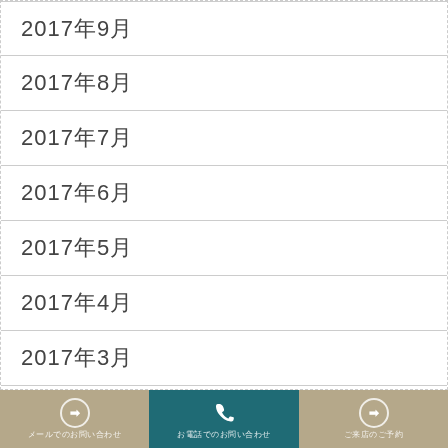2017年9月
2017年8月
2017年7月
2017年6月
2017年5月
2017年4月
2017年3月
2017年2月
メールでのお問い合わせ　お電話でのお問い合わせ　ご来店のご予約